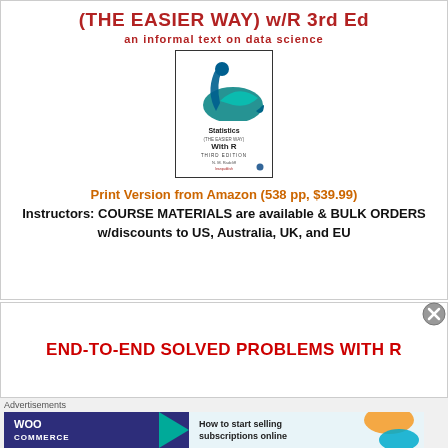(THE EASIER WAY) w/R 3rd Ed
an informal text on data science
[Figure (illustration): Book cover of 'Statistics (The Easier Way) With R, Third Edition' by N.M. Radcliff, showing a swan logo in blue and green]
Print Version from Amazon (538 pp, $39.99)
Instructors: COURSE MATERIALS are available & BULK ORDERS w/discounts to US, Australia, UK, and EU
END-TO-END SOLVED PROBLEMS WITH R
Advertisements
[Figure (illustration): WooCommerce advertisement banner: 'How to start selling subscriptions online']